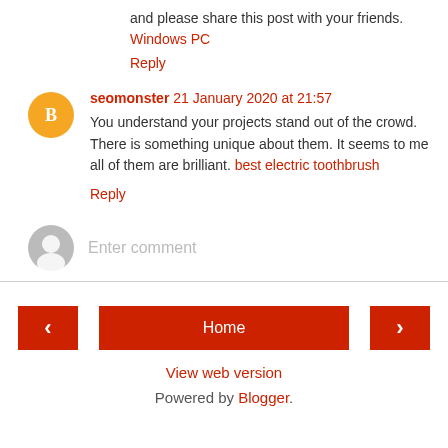and please share this post with your friends. Windows PC
Reply
seomonster 21 January 2020 at 21:57
You understand your projects stand out of the crowd. There is something unique about them. It seems to me all of them are brilliant. best electric toothbrush
Reply
[Figure (other): Enter comment input field with gray avatar icon]
[Figure (other): Navigation bar with left arrow, Home button, and right arrow]
View web version
Powered by Blogger.